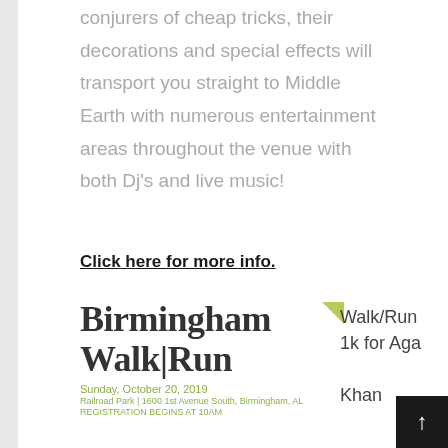conjurers of cheap tricks, their decorations and special effects will transport you straight to Middle Earth with numerous entertainment areas throughout the venue with both Dj's and live music!
Click here for more info.
[Figure (logo): Birmingham Walk|Run logo with green triangle accent, Sunday October 20 2019, Railroad Park 1600 1st Avenue South Birmingham AL, Registration Begins at 10AM]
Walk/Run 1k for Aga Khan